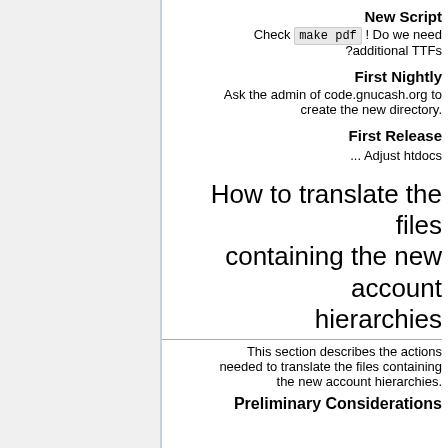New Script
Check make pdf ! Do we need ?additional TTFs
First Nightly
Ask the admin of code.gnucash.org to create the new directory.
First Release
... Adjust htdocs
How to translate the files containing the new account hierarchies
This section describes the actions needed to translate the files containing the new account hierarchies.
Preliminary Considerations